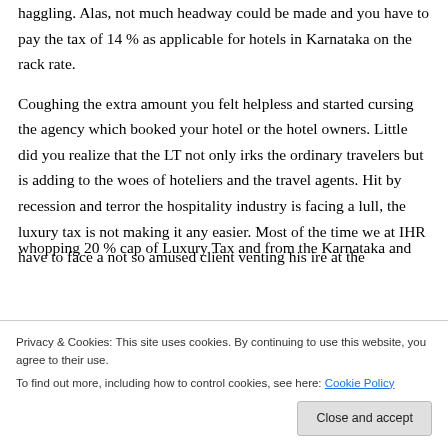haggling. Alas, not much headway could be made and you have to pay the tax of 14 % as applicable for hotels in Karnataka on the rack rate.
Coughing the extra amount you felt helpless and started cursing the agency which booked your hotel or the hotel owners. Little did you realize that the LT not only irks the ordinary travelers but is adding to the woes of hoteliers and the travel agents. Hit by recession and terror the hospitality industry is facing a lull, the luxury tax is not making it any easier. Most of the time we at IHR have to face a not so amused client venting his ire at the
whopping 20 % cap of Luxury Tax and from the Karnataka and
Privacy & Cookies: This site uses cookies. By continuing to use this website, you agree to their use.
To find out more, including how to control cookies, see here: Cookie Policy